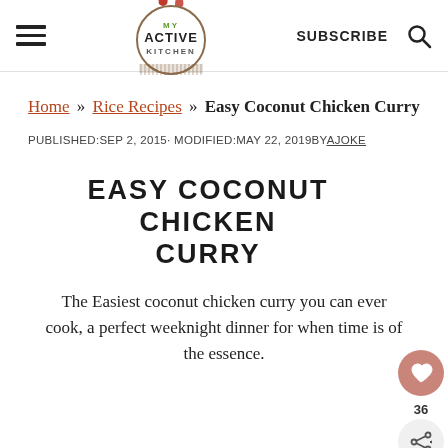MY ACTIVE KITCHEN — SUBSCRIBE
Home » Rice Recipes » Easy Coconut Chicken Curry
PUBLISHED:SEP 2, 2015· MODIFIED:MAY 22, 2019BYAJOKE
EASY COCONUT CHICKEN CURRY
The Easiest coconut chicken curry you can ever cook, a perfect weeknight dinner for when time is of the essence.